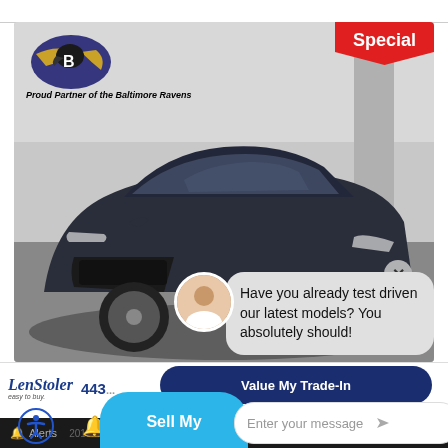[Figure (screenshot): Hyundai SUV car dealership website screenshot with chatbot overlay, Special badge, Ravens logo, LenStoler branding, Value My Trade-In and Sell My Car buttons, and message input field]
Special
Proud Partner of the Baltimore Ravens
Have you already test driven our latest models? You absolutely should!
LenStoler
easy to buy.
443
Value My Trade-In
Sell My
Enter your message
Alerts